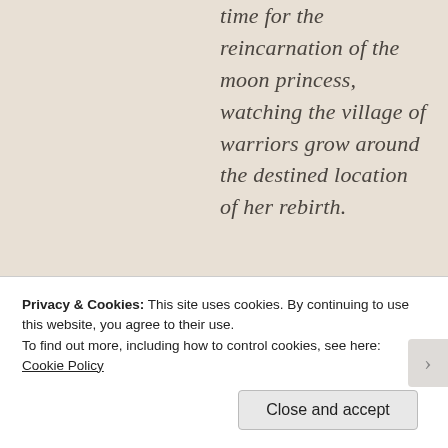time for the reincarnation of the moon princess, watching the village of warriors grow around the destined location of her rebirth.
Privacy & Cookies: This site uses cookies. By continuing to use this website, you agree to their use.
To find out more, including how to control cookies, see here: Cookie Policy
Close and accept